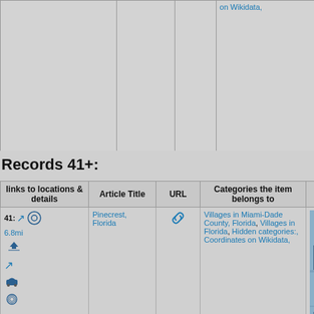| links to locations & details | Article Title | URL | Categories the item belongs to | Images in Wikipedia artic... |
| --- | --- | --- | --- | --- |
|  |  |  | on Wikidata, |  |
| 41: ↗ 6.8mi 🚁 ↗ 🚗 🌀 📊 🔍 🔗 | Pinecrest, Florida | 🔗 | Villages in Miami-Dade County, Florida, Villages in Florida, Hidden categories:, Coordinates on Wikidata, | [aerial photo] |
Records 41+: